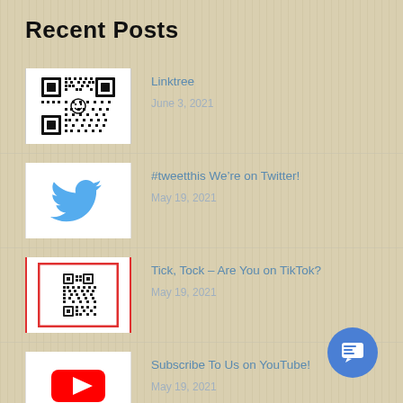Recent Posts
[Figure (other): QR code thumbnail for Linktree post]
Linktree
June 3, 2021
[Figure (logo): Twitter blue bird logo]
#tweetthis We're on Twitter!
May 19, 2021
[Figure (other): TikTok post thumbnail with QR code on red-bordered white background]
Tick, Tock – Are You on TikTok?
May 19, 2021
[Figure (logo): YouTube logo - red play button with YouTube text]
Subscribe To Us on YouTube!
May 19, 2021